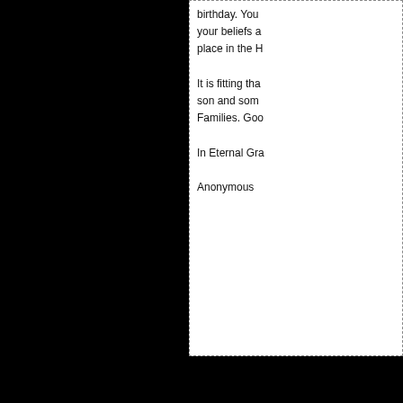birthday. You your beliefs a place in the H It is fitting tha son and som Families. Goo In Eternal Gra Anonymous
[Figure (illustration): Offline and user status badges, followed by italic post metadata: Prayers & Cond, James David P, BY John on Ap]
[Figure (illustration): A lit candle in a candleholder on a dark background]
May the grac Spirit be with